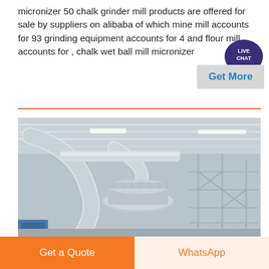micronizer 50 chalk grinder mill products are offered for sale by suppliers on alibaba of which mine mill accounts for 93 grinding equipment accounts for 4 and flour mill accounts for , chalk wet ball mill micronizer
[Figure (other): Live Chat bubble widget with dark purple circular icon labeled LIVE CHAT and a Get More button below it on a grey background]
[Figure (photo): Interior of an industrial milling facility showing large white industrial pipes, ductwork, and milling machinery including a large circular mill unit, metal scaffolding, and bright overhead lighting in a warehouse space]
Get a Quote
WhatsApp